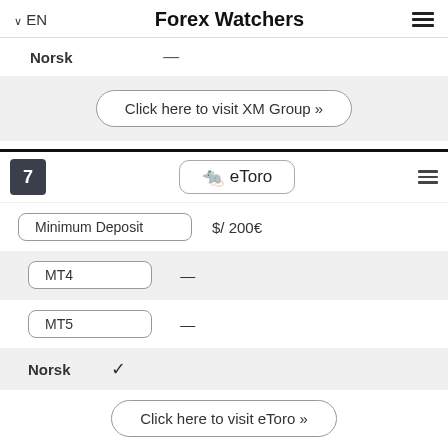EN   Forex Watchers
Norsk  —
Click here to visit XM Group »
7  eToro
Minimum Deposit  $/ 200€
MT4  —
MT5  —
Norsk  ✓
Click here to visit eToro »